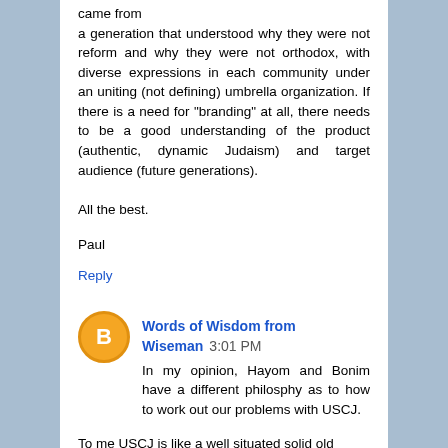came from a generation that understood why they were not reform and why they were not orthodox, with diverse expressions in each community under an uniting (not defining) umbrella organization. If there is a need for "branding" at all, there needs to be a good understanding of the product (authentic, dynamic Judaism) and target audience (future generations).
All the best.
Paul
Reply
Words of Wisdom from Wiseman  3:01 PM
In my opinion, Hayom and Bonim have a different philosphy as to how to work out our problems with USCJ.
To me USCJ is like a well situated solid old